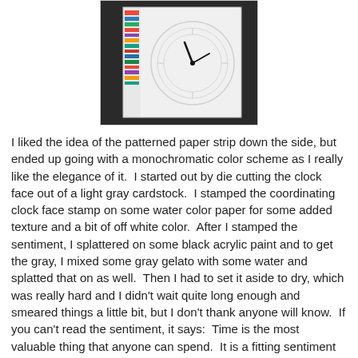[Figure (photo): A handmade greeting card featuring a clock face die cut from light gray cardstock with black clock hands, decorative circular pattern, and a colorful striped patterned paper strip on the left side, set against a dark background.]
I liked the idea of the patterned paper strip down the side, but ended up going with a monochromatic color scheme as I really like the elegance of it.  I started out by die cutting the clock face out of a light gray cardstock.  I stamped the coordinating clock face stamp on some water color paper for some added texture and a bit of off white color.  After I stamped the sentiment, I splattered on some black acrylic paint and to get the gray, I mixed some gray gelato with some water and splatted that on as well.  Then I had to set it aside to dry, which was really hard and I didn't wait quite long enough and smeared things a little bit, but I don't thank anyone will know.  If you can't read the sentiment, it says:  Time is the most valuable thing that anyone can spend.  It is a fitting sentiment as this man was a mentor and much more to my husband.
Supplies:
Stamps: PTI "Back Of Time"